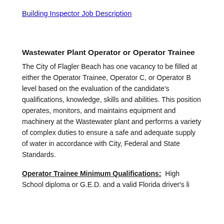Building Inspector Job Description
Wastewater Plant Operator or Operator Trainee
The City of Flagler Beach has one vacancy to be filled at either the Operator Trainee, Operator C, or Operator B level based on the evaluation of the candidate's qualifications, knowledge, skills and abilities. This position operates, monitors, and maintains equipment and machinery at the Wastewater plant and performs a variety of complex duties to ensure a safe and adequate supply of water in accordance with City, Federal and State Standards.
Operator Trainee Minimum Qualifications:  High School diploma or G.E.D. and a valid Florida driver's li...